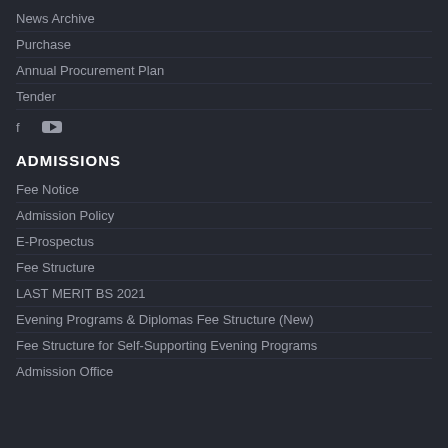News Archive
Purchase
Annual Procurement Plan
Tender
[Figure (other): Social media icons: Facebook and YouTube]
ADMISSIONS
Fee Notice
Admission Policy
E-Prospectus
Fee Structure
LAST MERIT BS 2021
Evening Programs & Diplomas Fee Structure (New)
Fee Structure for Self-Supporting Evening Programs
Admission Office